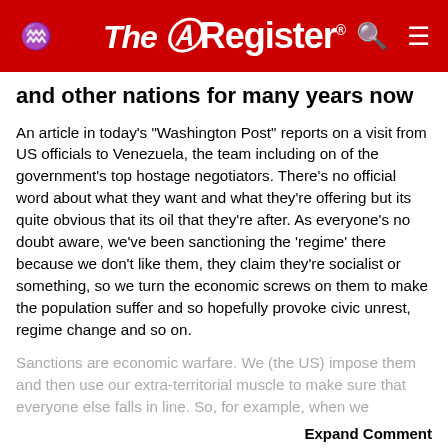The Register
and other nations for many years now
An article in today's "Washington Post" reports on a visit from US officials to Venezuela, the team including on of the government's top hostage negotiators. There's no official word about what they want and what they're offering but its quite obvious that its oil that they're after. As everyone's no doubt aware, we've been sanctioning the 'regime' there because we don't like them, they claim they're socialist or something, so we turn the economic screws on them to make the population suffer and so hopefully provoke civic unrest, regime change and so on.
Sanctions are economic warfare. We (the US) impose them and then use our extra-territorial muscle to make sure that everyone else falls in line. So, for example, when we unilaterally withdraw from the nuclear deal with
Expand Comment